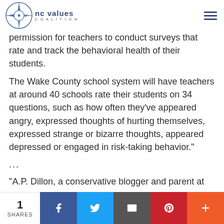NC Values Coalition
permission for teachers to conduct surveys that rate and track the behavioral health of their students.
The Wake County school system will have teachers at around 40 schools rate their students on 34 questions, such as how often they've appeared angry, expressed thoughts of hurting themselves, expressed strange or bizarre thoughts, appeared depressed or engaged in risk-taking behavior."
...
"A.P. Dillon, a conservative blogger and parent at